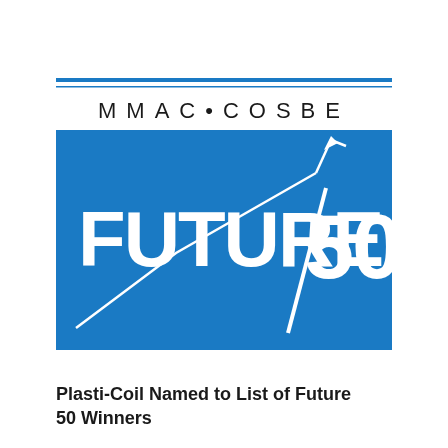[Figure (logo): MMAC COSBE Future 50 logo. Blue horizontal rules at top, text 'MMAC • COSBE' in spaced black letters, then a large blue rectangle with 'FUTURE/50' in white bold text and a diagonal arrow/graph line graphic going up to the right.]
Plasti-Coil Named to List of Future 50 Winners